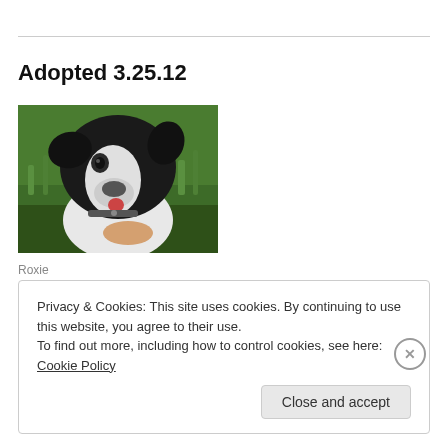Adopted 3.25.12
[Figure (photo): Black and white dog (Roxie) being held by a person's hand outdoors on green grass]
Roxie
Privacy & Cookies: This site uses cookies. By continuing to use this website, you agree to their use.
To find out more, including how to control cookies, see here: Cookie Policy
Close and accept